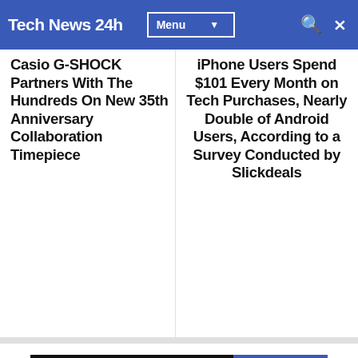Tech News 24h  Menu
Casio G-SHOCK Partners With The Hundreds On New 35th Anniversary Collaboration Timepiece
iPhone Users Spend $101 Every Month on Tech Purchases, Nearly Double of Android Users, According to a Survey Conducted by Slickdeals
LEAVE A COMMENT
FACEBOOK
[Figure (illustration): Blue heart shape icon partially visible at bottom left]
[Figure (illustration): Yellow circular button with coffee cup icon at bottom right]